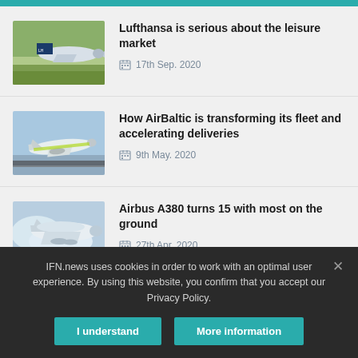[Figure (other): Teal top navigation bar]
Lufthansa is serious about the leisure market — 17th Sep. 2020
How AirBaltic is transforming its fleet and accelerating deliveries — 9th May. 2020
Airbus A380 turns 15 with most on the ground — 27th Apr. 2020
IFN.news uses cookies in order to work with an optimal user experience. By using this website, you confirm that you accept our Privacy Policy.